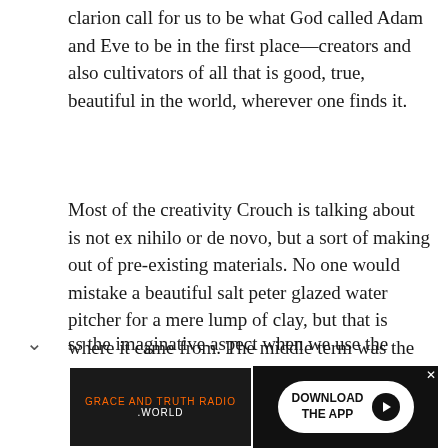clarion call for us to be what God called Adam and Eve to be in the first place—creators and also cultivators of all that is good, true, beautiful in the world, wherever one finds it.
Most of the creativity Crouch is talking about is not ex nihilo or de novo, but a sort of making out of pre-existing materials. No one would mistake a beautiful salt peter glazed water pitcher for a mere lump of clay, but that is where it came from. The middle term was the potter who fashioned into something that wet lump of clay had no capacity to be left on its own. It takes, intelligence, skill, and yes imagination to create culture well, though all too often today we just ess the imaginative aspect when we use the
[Figure (other): Advertisement banner for Grace and Truth Radio .World with a 'Download the App' button and play icon on dark background with orange accent.]